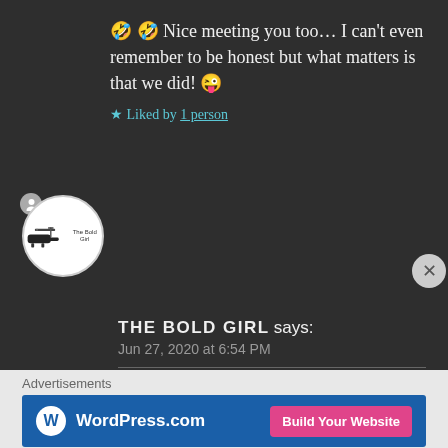🤣 🤣 Nice meeting you too… I can't even remember to be honest but what matters is that we did! 😜
★ Liked by 1 person
THE BOLD GIRL says: Jun 27, 2020 at 6:54 PM
Hahahaha… Yes!
★ Liked by 1 person
Advertisements
[Figure (other): WordPress.com advertisement banner with 'Build Your Website' button]